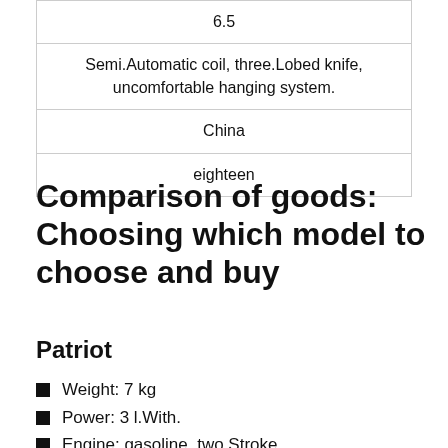| 6.5 |
| Semi.Automatic coil, three.Lobed knife, uncomfortable hanging system. |
| China |
| eighteen |
Comparison of goods: Choosing which model to choose and buy
Patriot
Weight: 7 kg
Power: 3 l.With.
Engine: gasoline, two.Stroke